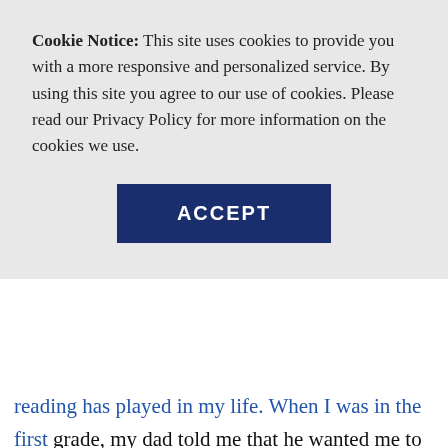Cookie Notice: This site uses cookies to provide you with a more responsive and personalized service. By using this site you agree to our use of cookies. Please read our Privacy Policy for more information on the cookies we use.
ACCEPT
reading has played in my life. When I was in the first grade, my dad told me that he wanted me to read one book per week. He took me to the library, and I checked out “The Flying Tackle.” I don’t remember the author, but I remember loving it. It was like watching a movie in my head, and I could start it and stop it just by picking up or putting down my book.  The problem soon became that my mom and dad had to take me to the library so frequently that I’m sure I became a nuisance.  To this day, I’m thankful to my dad for putting me on the right track